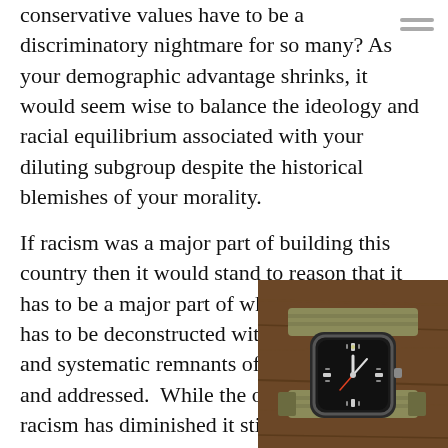conservative values have to be a discriminatory nightmare for so many? As your demographic advantage shrinks, it would seem wise to balance the ideology and racial equilibrium associated with your diluting subgroup despite the historical blemishes of your morality.
If racism was a major part of building this country then it would stand to reason that it has to be a major part of what was built. It has to be deconstructed with the structural and systematic remnants of racism identified and addressed. While the oppression of racism has diminished it still is a reality. The obstacles are not insurmountable but they do exist where they don't for non-blacks.
[Figure (photo): Photo of a vintage watch with a dark dial on a khaki/olive NATO strap, placed on a brown wooden surface, partially overlapping the text in the bottom-right corner.]